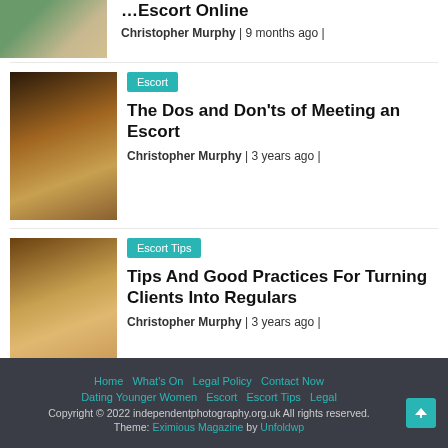[Figure (photo): Thumbnail image partially visible at top]
How to Find an Escort Buddy or Travel Escort Online
Christopher Murphy | 9 months ago |
[Figure (photo): Woman photo thumbnail]
Escort
The Dos and Don'ts of Meeting an Escort
Christopher Murphy | 3 years ago |
[Figure (photo): Woman photo thumbnail]
Escort Tips
Tips And Good Practices For Turning Clients Into Regulars
Christopher Murphy | 3 years ago |
Home  What's On  Legal Policy  Contact Now  Dating Younger Women  Escort  Escort Tips  Legal  Copyright © 2022 independentphotography.org.uk All rights reserved.  Theme: Eximious Magazine by Unfoldwp